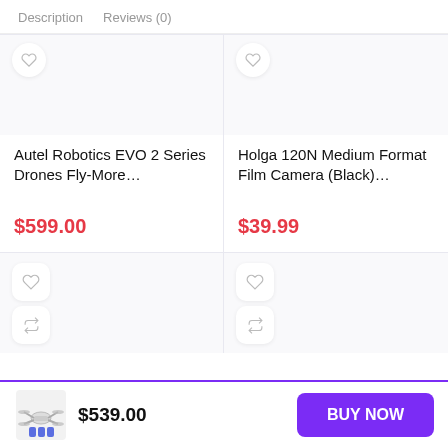Description   Reviews (0)
Autel Robotics EVO 2 Series Drones Fly-More…
$599.00
Holga 120N Medium Format Film Camera (Black)…
$39.99
$539.00
BUY NOW